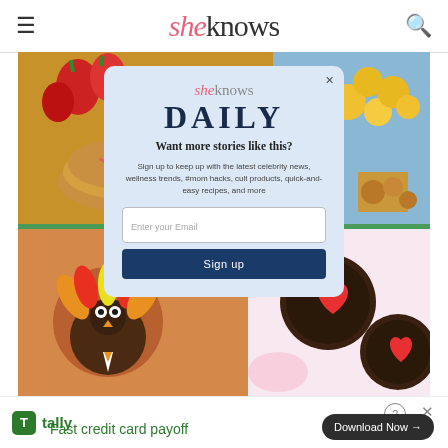sheknows
[Figure (photo): Food collage with strawberries, pancakes, flowers, turkey cookie and heart cookies, with a sheknows DAILY email signup popup overlay]
Image: Deborah Stallings Stumm
[Figure (infographic): Tally advertisement banner: Fast credit card payoff with Download Now button]